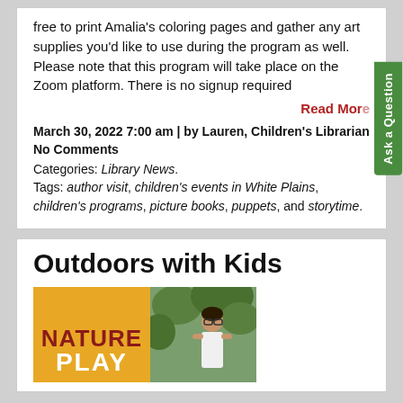free to print Amalia's coloring pages and gather any art supplies you'd like to use during the program as well. Please note that this program will take place on the Zoom platform. There is no signup required
Read More
March 30, 2022 7:00 am | by Lauren, Children's Librarian No Comments
Categories: Library News.
Tags: author visit, children's events in White Plains, children's programs, picture books, puppets, and storytime.
Outdoors with Kids
[Figure (illustration): Book cover image showing 'NATURE PLAY' text on yellow/orange background with a child outdoors on the right side]